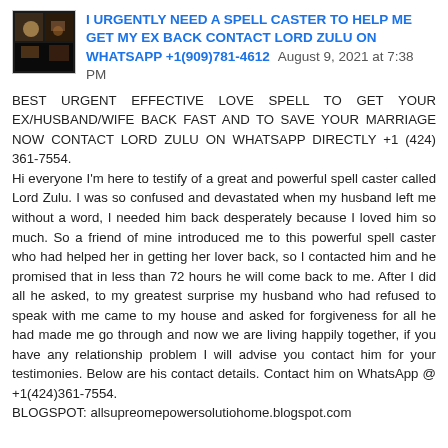I URGENTLY NEED A SPELL CASTER TO HELP ME GET MY EX BACK CONTACT LORD ZULU ON WHATSAPP +1(909)781-4612  August 9, 2021 at 7:38 PM
BEST URGENT EFFECTIVE LOVE SPELL TO GET YOUR EX/HUSBAND/WIFE BACK FAST AND TO SAVE YOUR MARRIAGE NOW CONTACT LORD ZULU ON WHATSAPP DIRECTLY +1 (424) 361-7554.
Hi everyone I'm here to testify of a great and powerful spell caster called Lord Zulu. I was so confused and devastated when my husband left me without a word, I needed him back desperately because I loved him so much. So a friend of mine introduced me to this powerful spell caster who had helped her in getting her lover back, so I contacted him and he promised that in less than 72 hours he will come back to me. After I did all he asked, to my greatest surprise my husband who had refused to speak with me came to my house and asked for forgiveness for all he had made me go through and now we are living happily together, if you have any relationship problem I will advise you contact him for your testimonies. Below are his contact details. Contact him on WhatsApp @ +1(424)361-7554.
BLOGSPOT: allsupreomepowersolutiohome.blogspot.com